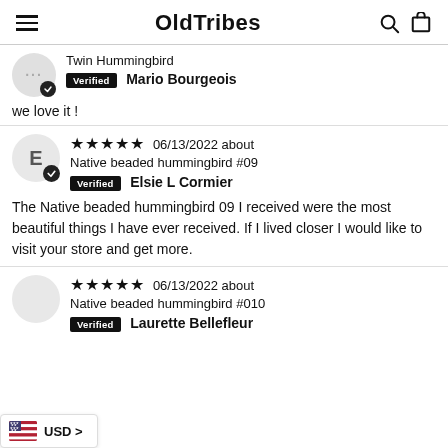OldTribes
Twin Hummingbird
Verified  Mario Bourgeois
we love it !
★★★★★ 06/13/2022 about Native beaded hummingbird #09
Verified  Elsie L Cormier
The Native beaded hummingbird 09 I received were the most beautiful things I have ever received. If I lived closer I would like to visit your store and get more.
★★★★★ 06/13/2022 about Native beaded hummingbird #010
Verified  Laurette Bellefleur